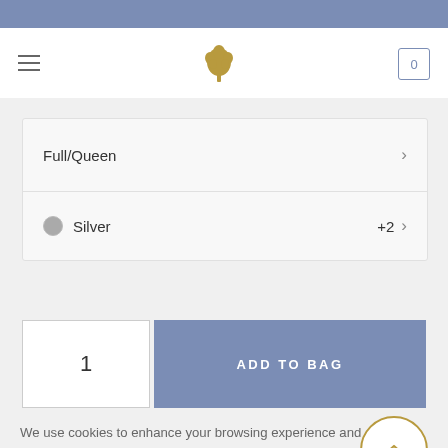[Figure (logo): Mulberry tree logo in gold with hamburger menu on left and shopping bag icon with 0 on right]
Full/Queen
Silver  +2
1
ADD TO BAG
We use cookies to enhance your browsing experience and to allow us to improve our website usefulness. By continuing, we assume you accept such use. Learn more about cookies and how to change your consent by visiting our privacy policy.
OK